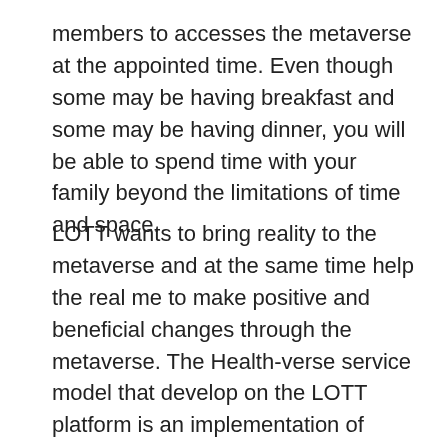members to accesses the metaverse at the appointed time. Even though some may be having breakfast and some may be having dinner, you will be able to spend time with your family beyond the limitations of time and space.
LOTT wants to bring reality to the metaverse and at the same time help the real me to make positive and beneficial changes through the metaverse. The Health-verse service model that develop on the LOTT platform is an implementation of virtual reality that allows users to enjoy surreal within the metaverse and closely relate all these benefits to real life and health.